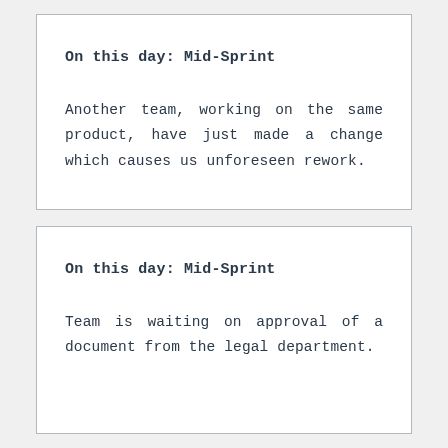On this day: Mid-Sprint
Another team, working on the same product, have just made a change which causes us unforeseen rework.
On this day: Mid-Sprint
Team is waiting on approval of a document from the legal department.